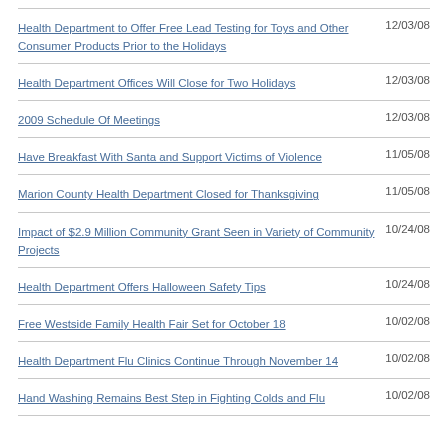Health Department to Offer Free Lead Testing for Toys and Other Consumer Products Prior to the Holidays
Health Department Offices Will Close for Two Holidays
2009 Schedule Of Meetings
Have Breakfast With Santa and Support Victims of Violence
Marion County Health Department Closed for Thanksgiving
Impact of $2.9 Million Community Grant Seen in Variety of Community Projects
Health Department Offers Halloween Safety Tips
Free Westside Family Health Fair Set for October 18
Health Department Flu Clinics Continue Through November 14
Hand Washing Remains Best Step in Fighting Colds and Flu